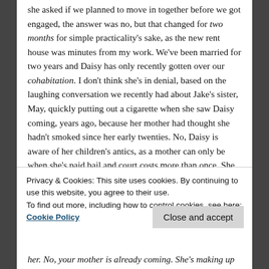she asked if we planned to move in together before we got engaged, the answer was no, but that changed for two months for simple practicality's sake, as the new rent house was minutes from my work. We've been married for two years and Daisy has only recently gotten over our cohabitation. I don't think she's in denial, based on the laughing conversation we recently had about Jake's sister, May, quickly putting out a cigarette when she saw Daisy coming, years ago, because her mother had thought she hadn't smoked since her early twenties. No, Daisy is aware of her children's antics, as a mother can only be when she's paid bail and court costs more than once. She just seems to feel that respectful children hide these things and takes it as disrespect when an effort isn't made
Privacy & Cookies: This site uses cookies. By continuing to use this website, you agree to their use.
To find out more, including how to control cookies, see here: Cookie Policy
Close and accept
her. No, your mother is already coming. She's making up